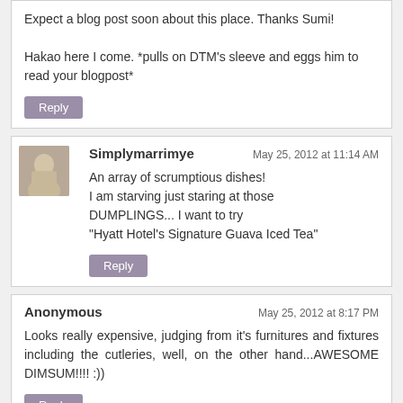Expect a blog post soon about this place. Thanks Sumi!

Hakao here I come. *pulls on DTM's sleeve and eggs him to read your blogpost*
Reply
Simplymarrimye
May 25, 2012 at 11:14 AM
An array of scrumptious dishes!
I am starving just staring at those DUMPLINGS... I want to try
"Hyatt Hotel's Signature Guava Iced Tea"
Reply
Anonymous
May 25, 2012 at 8:17 PM
Looks really expensive, judging from it's furnitures and fixtures including the cutleries, well, on the other hand...AWESOME DIMSUM!!!! :))
Reply